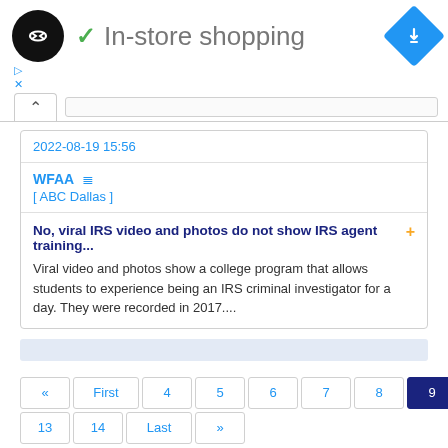[Figure (logo): Black circular logo with double arrow/infinity-like symbol in white]
✓ In-store shopping
[Figure (logo): Blue diamond/navigation icon with white right-turn arrow]
2022-08-19 15:56
WFAA  [ ABC Dallas ]
No, viral IRS video and photos do not show IRS agent training... + Viral video and photos show a college program that allows students to experience being an IRS criminal investigator for a day. They were recorded in 2017....
« First 4 5 6 7 8 9 10 11 12 13 14 Last »